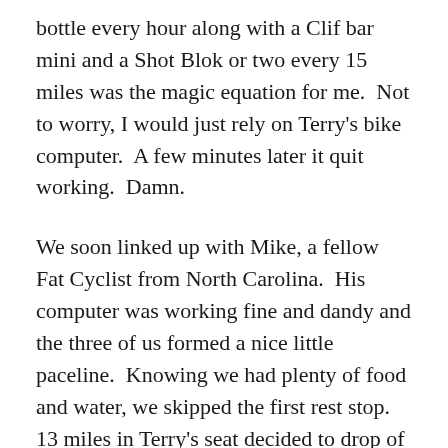bottle every hour along with a Clif bar mini and a Shot Blok or two every 15 miles was the magic equation for me.  Not to worry, I would just rely on Terry's bike computer.  A few minutes later it quit working.  Damn.
We soon linked up with Mike, a fellow Fat Cyclist from North Carolina.  His computer was working fine and dandy and the three of us formed a nice little paceline.  Knowing we had plenty of food and water, we skipped the first rest stop.  13 miles in Terry's seat decided to drop of its own volition and so we stopped for a couple of minutes while he fixed it.  While we were stopped I fixed my bike computer and ate a snack.  Cool, now all I had to do to figure out where I was on the course was add 13 miles to my odometer.  With plenty of food and